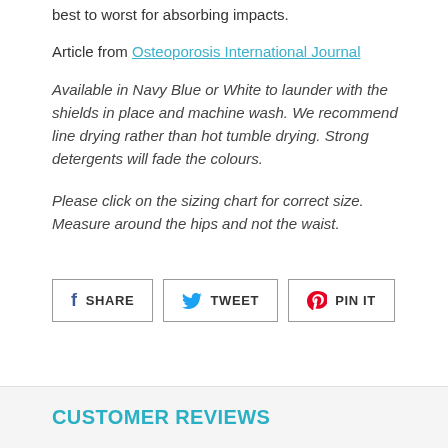best to worst for absorbing impacts.
Article from Osteoporosis International Journal
Available in Navy Blue or White to launder with the shields in place and machine wash. We recommend line drying rather than hot tumble drying. Strong detergents will fade the colours.
Please click on the sizing chart for correct size. Measure around the hips and not the waist.
SHARE   TWEET   PIN IT
CUSTOMER REVIEWS